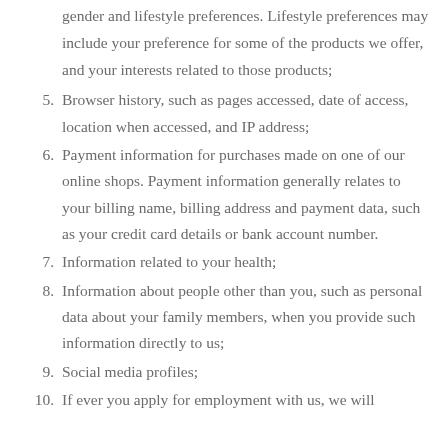gender and lifestyle preferences. Lifestyle preferences may include your preference for some of the products we offer, and your interests related to those products;
5. Browser history, such as pages accessed, date of access, location when accessed, and IP address;
6. Payment information for purchases made on one of our online shops. Payment information generally relates to your billing name, billing address and payment data, such as your credit card details or bank account number.
7. Information related to your health;
8. Information about people other than you, such as personal data about your family members, when you provide such information directly to us;
9. Social media profiles;
10. If ever you apply for employment with us, we will